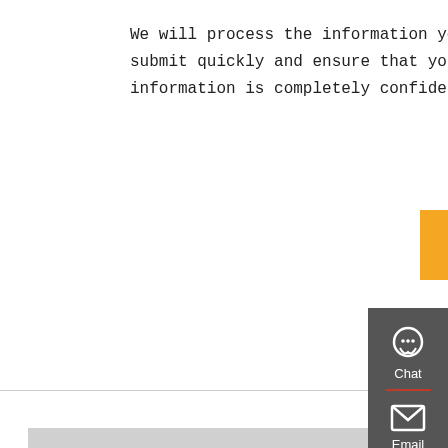We will process the information you submit quickly and ensure that your information is completely confidential.
[Figure (other): Orange SUBMIT button]
[Figure (photo): Red Beiben heavy duty truck (tractor head) parked in a yard with a pink/red metal roof building in background]
Buy Best China Beiben 35 T Dump Truck Heavy Duty Type
beiben dumper tipper truck beiben 25t Dump
[Figure (other): Right sidebar with Chat, Email, Contact, and Top navigation icons on dark grey background]